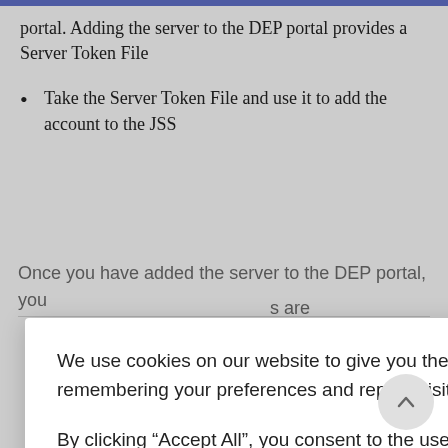portal. Adding the server to the DEP portal provides a Server Token File
Take the Server Token File and use it to add the account to the JSS
Once you have added the server to the DEP portal, you ... s are
We use cookies on our website to give you the most relevant experience by remembering your preferences and repeat visits.

By clicking “Accept All”, you consent to the use of ALL the cookies. However, you may visit “Cookie Settings” to provide a controlled consent.
Cookie Settings
Accept All